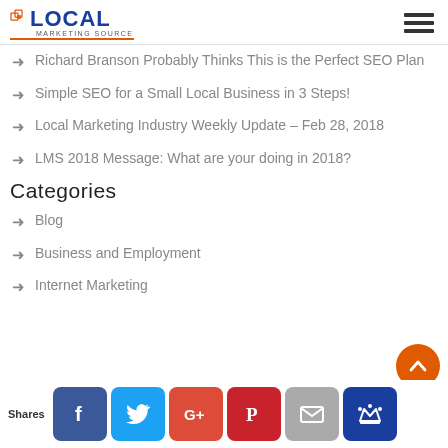LOCAL MARKETING SOURCE
Richard Branson Probably Thinks This is the Perfect SEO Plan
Simple SEO for a Small Local Business in 3 Steps!
Local Marketing Industry Weekly Update – Feb 28, 2018
LMS 2018 Message: What are your doing in 2018?
Categories
Blog
Business and Employment
Internet Marketing
Shares